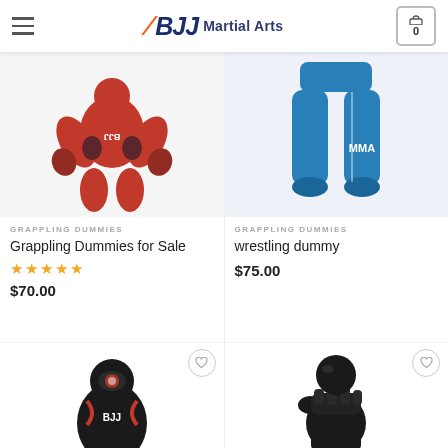BJJ Martial Arts - navigation header with hamburger menu and cart
[Figure (photo): Red grappling dummy product image]
GRAPPLING DUMMIES
Grappling Dummies for Sale
★★★★★ $70.00
[Figure (photo): Blue wrestling dummy (lower half) product image]
GRAPPLING DUMMIES
wrestling dummy
$75.00
[Figure (photo): Black and red grappling dummy product image (partial)]
[Figure (photo): Black fist/punch dummy product image (partial)]